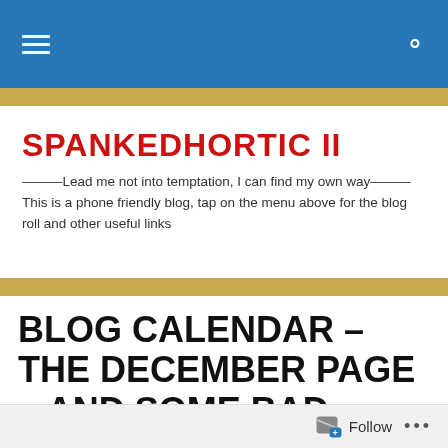SPANKEDHORTIC II — menu and search bar
SPANKEDHORTIC II
———Lead me not into temptation, I can find my own way——— This is a phone friendly blog, tap on the menu above for the blog roll and other useful links
BLOG CALENDAR – THE DECEMBER PAGE – AND SOME BAD ADVICE REVISITED
The Blog Calendar For December
Follow ...